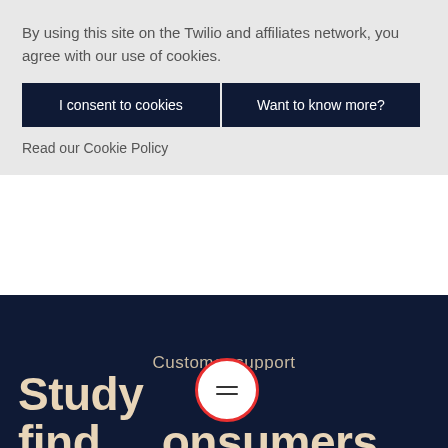By using this site on the Twilio and affiliates network, you agree with our use of cookies.
I consent to cookies
Want to know more?
Read our Cookie Policy
Customer support
Study find consumers expect better customer